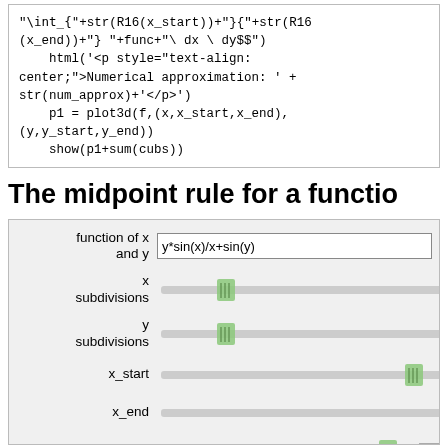"\int_{"+str(R16(x_start))+"}^{"+str(R16(x_end))+"} "+func+"\ dx \ dy$$")
    html('<p style="text-align: center;">Numerical approximation: ' + str(num_approx)+'</p>')
    p1 = plot3d(f,(x,x_start,x_end),(y,y_start,y_end))
    show(p1+sum(cubs))
The midpoint rule for a functio
[Figure (screenshot): Interactive widget UI showing input fields and sliders: function of x and y (text input with 'y*sin(x)/x+sin(y)'), x subdivisions slider (thumb near left), y subdivisions slider (thumb near left), x_start slider (thumb near right), x_end slider (thumb at right end), y_start slider (thumb near right) with jsMath badge]